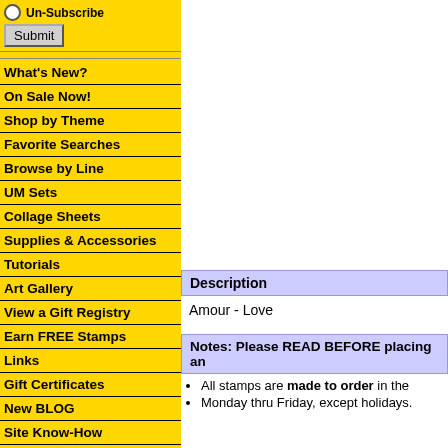Un-Subscribe
Submit
What's New?
On Sale Now!
Shop by Theme
Favorite Searches
Browse by Line
UM Sets
Collage Sheets
Supplies & Accessories
Tutorials
Art Gallery
View a Gift Registry
Earn FREE Stamps
Links
Gift Certificates
New BLOG
Site Know-How
Customer Service
Testimonials
Technical Questions
Conventions
Description
Amour - Love
Notes: Please READ BEFORE placing an
All stamps are made to order in the
Monday thru Friday, except holidays.